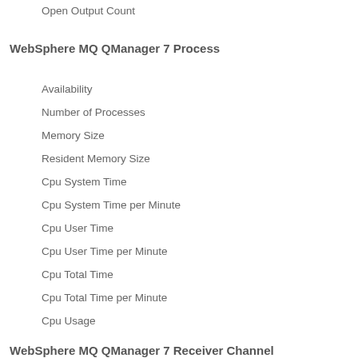Open Output Count
WebSphere MQ QManager 7 Process
Availability
Number of Processes
Memory Size
Resident Memory Size
Cpu System Time
Cpu System Time per Minute
Cpu User Time
Cpu User Time per Minute
Cpu Total Time
Cpu Total Time per Minute
Cpu Usage
WebSphere MQ QManager 7 Receiver Channel
Availability
BuffersReceived